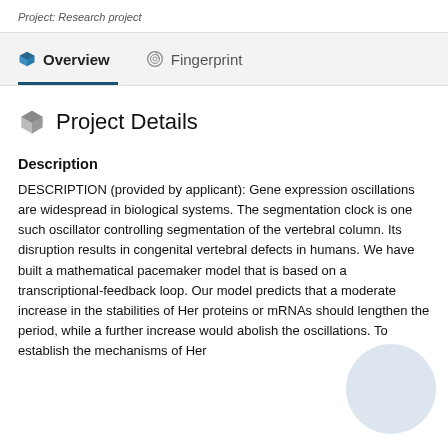Project: Research project
Overview   Fingerprint
Project Details
Description
DESCRIPTION (provided by applicant): Gene expression oscillations are widespread in biological systems. The segmentation clock is one such oscillator controlling segmentation of the vertebral column. Its disruption results in congenital vertebral defects in humans. We have built a mathematical pacemaker model that is based on a transcriptional-feedback loop. Our model predicts that a moderate increase in the stabilities of Her proteins or mRNAs should lengthen the period, while a further increase would abolish the oscillations. To establish the mechanisms of Her